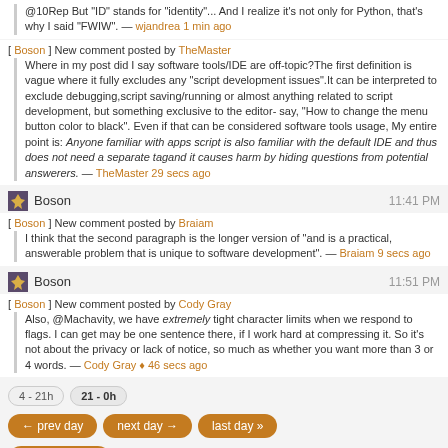@10Rep But "ID" stands for "identity"... And I realize it's not only for Python, that's why I said "FWIW". — wjandrea 1 min ago
[ Boson ] New comment posted by TheMaster
Where in my post did I say software tools/IDE are off-topic?The first definition is vague where it fully excludes any "script development issues".It can be interpreted to exclude debugging,script saving/running or almost anything related to script development, but something exclusive to the editor- say, "How to change the menu button color to black". Even if that can be considered software tools usage, My entire point is: Anyone familiar with apps script is also familiar with the default IDE and thus does not need a separate tagand it causes harm by hiding questions from potential answerers. — TheMaster 29 secs ago
Boson  11:41 PM
[ Boson ] New comment posted by Braiam
I think that the second paragraph is the longer version of "and is a practical, answerable problem that is unique to software development". — Braiam 9 secs ago
Boson  11:51 PM
[ Boson ] New comment posted by Cody Gray
Also, @Machavity, we have extremely tight character limits when we respond to flags. I can get may be one sentence there, if I work hard at compressing it. So it's not about the privacy or lack of notice, so much as whether you want more than 3 or 4 words. — Cody Gray ♦ 46 secs ago
4 - 21h
21 - 0h
← prev day   next day →   last day »
join this room